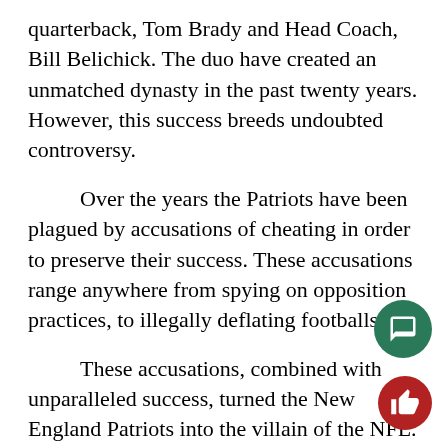quarterback, Tom Brady and Head Coach, Bill Belichick. The duo have created an unmatched dynasty in the past twenty years. However, this success breeds undoubted controversy.
Over the years the Patriots have been plagued by accusations of cheating in order to preserve their success. These accusations range anywhere from spying on opposition practices, to illegally deflating footballs.
These accusations, combined with unparalleled success, turned the New England Patriots into the villain of the NFL. For every rabid Patriots fan, there are ten equally rabid Patriot haters. But do the presence of a vilified dynasty have a negative effect on the sport in question?
There is no scarcity of hated dynasties in the